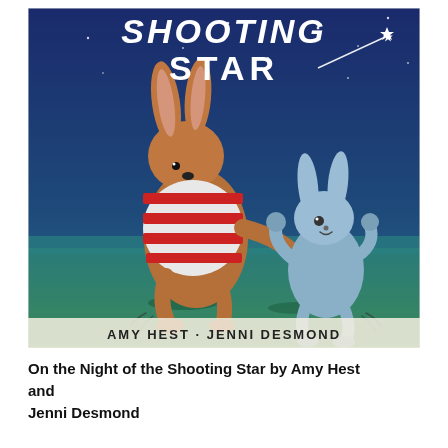[Figure (illustration): Book cover of 'On the Night of the Shooting Star' showing title text 'SHOOTING STAR' in white hand-drawn letters against a dark blue night sky with stars, a shooting star streak in the upper right. A large brown rabbit wearing a red and white striped shirt dances with a smaller light blue rabbit on a teal/green ground. At the bottom of the cover in capital letters: 'AMY HEST · JENNI DESMOND'.]
On the Night of the Shooting Star by Amy Hest and Jenni Desmond